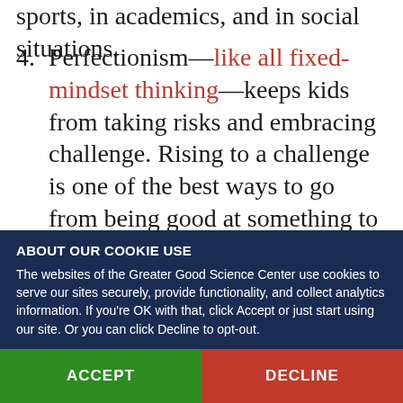sports, in academics, and in social situations.
4. Perfectionism—like all fixed-mindset thinking—keeps kids from taking risks and embracing challenge. Rising to a challenge is one of the best ways to go from being good at something to being great.
5. Perfectionism leads kids to conceal their mistakes and avoid getting constructive
ABOUT OUR COOKIE USE
The websites of the Greater Good Science Center use cookies to serve our sites securely, provide functionality, and collect analytics information. If you're OK with that, click Accept or just start using our site. Or you can click Decline to opt-out.
ACCEPT
DECLINE